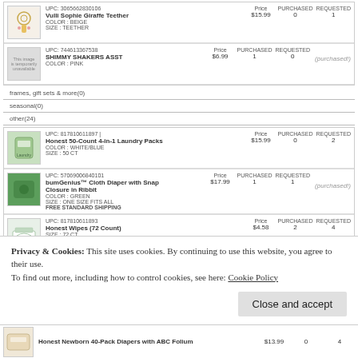|  | UPC | Price | PURCHASED | REQUESTED |
| --- | --- | --- | --- | --- |
| Vulli Sophie Giraffe Teether COLOR: BEIGE SIZE: TEETHER | UPC: 3065662830106 | $15.99 | 0 | 1 |
| SHIMMY SHAKERS ASST COLOR: PINK | UPC: 744613367538 | $6.99 | 1 | 0 | (purchased!) |
frames, gift sets & more(0)
seasonal(0)
other(24)
|  | UPC | Price | PURCHASED | REQUESTED |
| --- | --- | --- | --- | --- |
| Honest 50-Count 4-in-1 Laundry Packs COLOR: WHITE/BLUE SIZE: 50 CT | UPC: 817810611897 | | $15.99 | 0 | 2 |
| bumGenius™ Cloth Diaper with Snap Closure in Ribbit COLOR: GREEN SIZE: ONE SIZE FITS ALL FREE STANDARD SHIPPING | UPC: 57069006840101 | $17.99 | 1 | 1 | (purchased!) |
| Honest Wipes (72 Count) SIZE: 72 CT | UPC: 817810611893 | $4.58 | 2 | 4 |
Privacy & Cookies: This site uses cookies. By continuing to use this website, you agree to their use.
To find out more, including how to control cookies, see here: Cookie Policy
Close and accept
Honest Newborn 40-Pack Diapers with ABC Folium